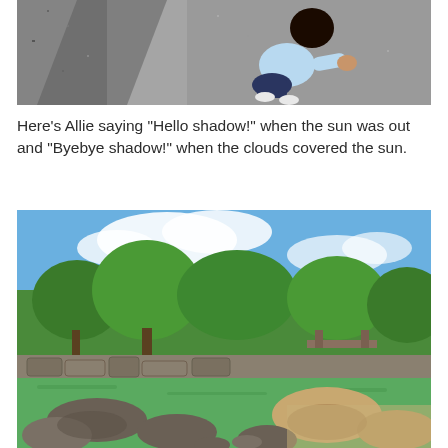[Figure (photo): Aerial/top-down view of a child in a light blue jacket touching textured gray gravel ground, viewed from above. Child has dark hair and is kneeling/crouching.]
Here's Allie saying "Hello shadow!" when the sun was out and "Byebye shadow!" when the clouds covered the sun.
[Figure (photo): Japanese garden with a bright green pond/lake in the foreground with rocks, lush green trees in the middle ground, a small bridge visible, and blue sky with white clouds above.]